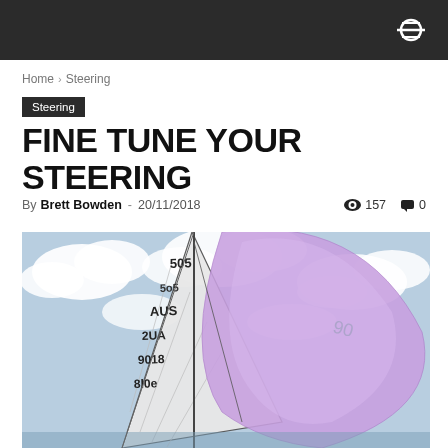Home › Steering
Steering
FINE TUNE YOUR STEERING
By Brett Bowden - 20/11/2018  👁 157  💬 0
[Figure (photo): Sailing boat with white and purple sails marked with AUS 9018 8108 and 505, sailing against a cloudy sky]